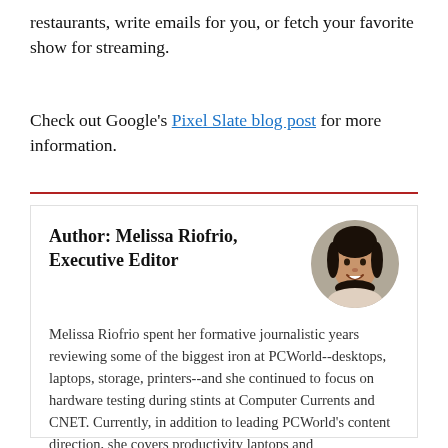restaurants, write emails for you, or fetch your favorite show for streaming.
Check out Google's Pixel Slate blog post for more information.
Author: Melissa Riofrio, Executive Editor
[Figure (photo): Circular portrait photo of Melissa Riofrio, a woman smiling, with dark hair]
Melissa Riofrio spent her formative journalistic years reviewing some of the biggest iron at PCWorld--desktops, laptops, storage, printers--and she continued to focus on hardware testing during stints at Computer Currents and CNET. Currently, in addition to leading PCWorld's content direction, she covers productivity laptops and Chromebooks.